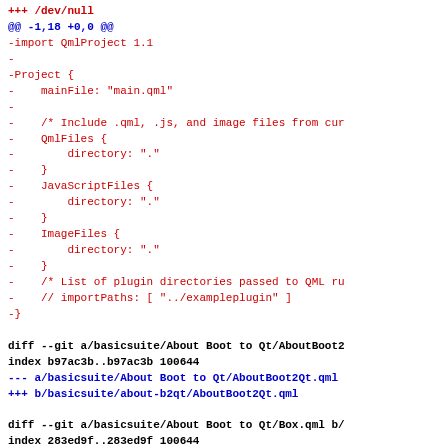diff output showing deleted lines from a QML project file and git diff headers for basicsuite files